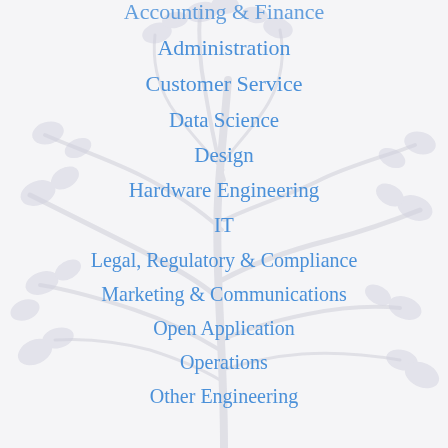Accounting & Finance
Administration
Customer Service
Data Science
Design
Hardware Engineering
IT
Legal, Regulatory & Compliance
Marketing & Communications
Open Application
Operations
Other Engineering